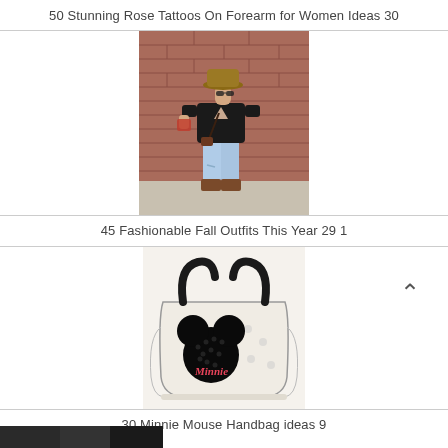50 Stunning Rose Tattoos On Forearm for Women Ideas 30
[Figure (photo): Woman in black sweater, ripped jeans, brown boots and tan hat standing in front of a brick wall]
45 Fashionable Fall Outfits This Year 29 1
[Figure (photo): Minnie Mouse themed handbag with black sequin ears, cream colored tote with Minnie Mouse print]
30 Minnie Mouse Handbag ideas 9
[Figure (photo): Partial view of a dark image at the bottom of the page]